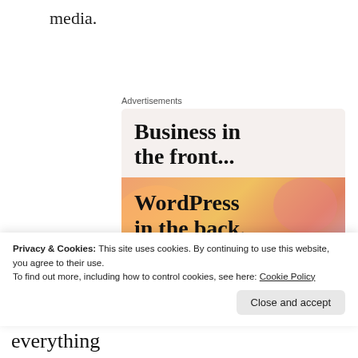media.
Advertisements
[Figure (illustration): Advertisement banner reading 'Business in the front...' on a light beige background, and 'WordPress in the back.' on an orange/pink gradient background with decorative blobs.]
Privacy & Cookies: This site uses cookies. By continuing to use this website, you agree to their use.
To find out more, including how to control cookies, see here: Cookie Policy
Close and accept
future of Northern Ireland and hate everything